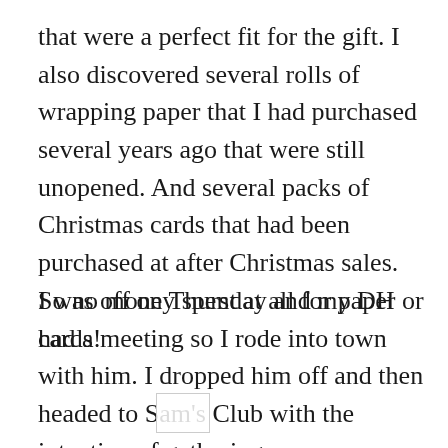that were a perfect fit for the gift. I also discovered several rolls of wrapping paper that I had purchased several years ago that were still unopened. And several packs of Christmas cards that had been purchased at after Christmas sales. So no money spent at all for paper or cards!
I was off on Thursday and my DH had a meeting so I rode into town with him. I dropped him off and then headed to Sam's Club with the intention of gathering